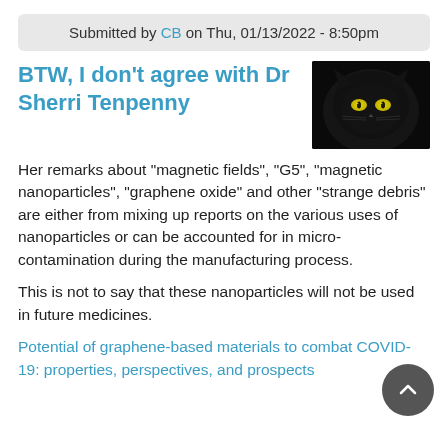Submitted by CB on Thu, 01/13/2022 - 8:50pm
BTW, I don't agree with Dr Sherri Tenpenny
[Figure (photo): Close-up photo of a black cat with glowing yellow-green eyes against a dark background]
Her remarks about "magnetic fields", "G5", "magnetic nanoparticles", "graphene oxide" and other "strange debris" are either from mixing up reports on the various uses of nanoparticles or can be accounted for in micro-contamination during the manufacturing process.
This is not to say that these nanoparticles will not be used in future medicines.
Potential of graphene-based materials to combat COVID-19: properties, perspectives, and prospects